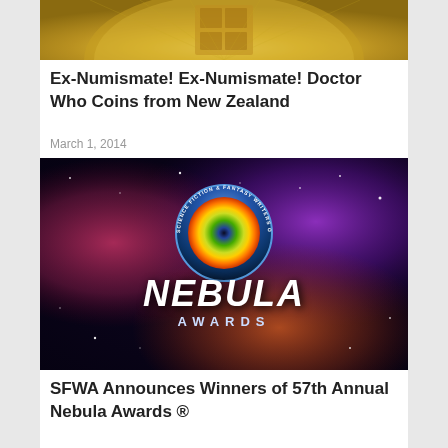[Figure (photo): Partial view of a gold Doctor Who coin from New Zealand, showing the bottom portion of the coin with metallic gold surface and embossed design.]
Ex-Numismate! Ex-Numismate! Doctor Who Coins from New Zealand
March 1, 2014
[Figure (logo): Nebula Awards logo — Science Fiction & Fantasy Writers of America. Features a stylized eye/galaxy design in the center of a blue circle, with the text NEBULA AWARDS in large white letters below, set against a colorful nebula space background with purples, pinks, and oranges.]
SFWA Announces Winners of 57th Annual Nebula Awards ®